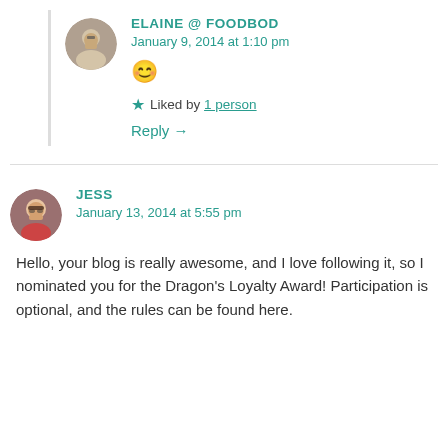ELAINE @ FOODBOD
January 9, 2014 at 1:10 pm
[Figure (other): Emoji: grinning face with smiling eyes 😊]
Liked by 1 person
Reply →
JESS
January 13, 2014 at 5:55 pm
Hello, your blog is really awesome, and I love following it, so I nominated you for the Dragon's Loyalty Award! Participation is optional, and the rules can be found here.